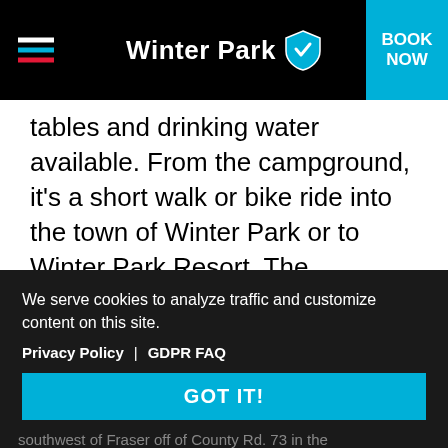Winter Park — BOOK NOW
tables and drinking water available. From the campground, it's a short walk or bike ride into the town of Winter Park or to Winter Park Resort. The maximum spur length is 32 feet. Please check in with the camp host to pay the fee and receive a site assignment.
We serve cookies to analyze traffic and customize content on this site.
Privacy Policy | GDPR FAQ
GOT IT!
ELUSIVE CREEK CAMPSITES: 16
(private pay-per-night, first-come-first-serve)
St. Louis Creek Campground is located 2 miles southwest of Fraser off of County Rd. 73 in the